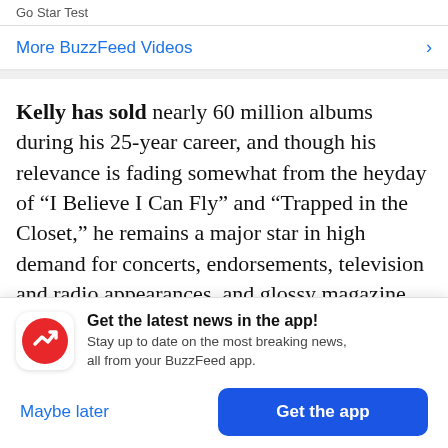Go Star Test
More BuzzFeed Videos >
Kelly has sold nearly 60 million albums during his 25-year career, and though his relevance is fading somewhat from the heyday of “I Believe I Can Fly” and “Trapped in the Closet,” he remains a major star in high demand for concerts, endorsements, television and radio appearances, and glossy magazine profiles. When he’s not performing, Kelly
[Figure (infographic): BuzzFeed app promotion modal with red circular icon containing white trending arrow, headline 'Get the latest news in the app!', subtext 'Stay up to date on the most breaking news, all from your BuzzFeed app.', with 'Maybe later' and 'Get the app' buttons]